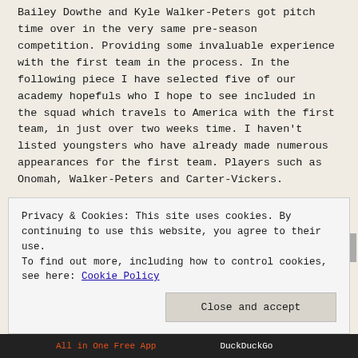Bailey Dowthe and Kyle Walker-Peters got pitch time over in the very same pre-season competition. Providing some invaluable experience with the first team in the process. In the following piece I have selected five of our academy hopefuls who I hope to see included in the squad which travels to America with the first team, in just over two weeks time. I haven't listed youngsters who have already made numerous appearances for the first team. Players such as Onomah, Walker-Peters and Carter-Vickers.
Anthony Georgiou: It was at this time last year when Anthony Georgiou introduced himself to the Spurs faithful. The speedy young winger was brought on at half time by Pochettino during our chaotic ICC friendly with Roma in Minneapolis. After enduring an injury hit campaign the following season, Georgiou seized his chance with both hands, putting in an electric performance against Roma's Bruno Peres out on the left wing. Direct and positive with a
Privacy & Cookies: This site uses cookies. By continuing to use this website, you agree to their use.
To find out more, including how to control cookies, see here: Cookie Policy
Close and accept